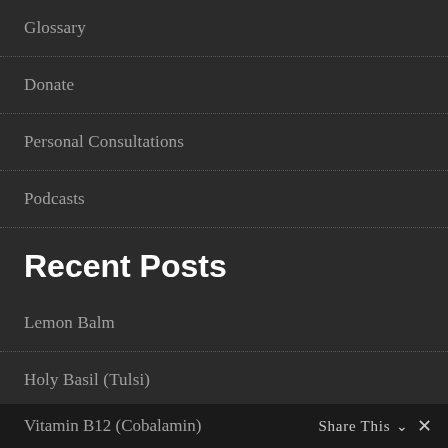Glossary
Donate
Personal Consultations
Podcasts
Recent Posts
Lemon Balm
Holy Basil (Tulsi)
Are Nootropics Legal in My Country?
Vitamin B12 (Cobalamin)
Share This ∨  ✕